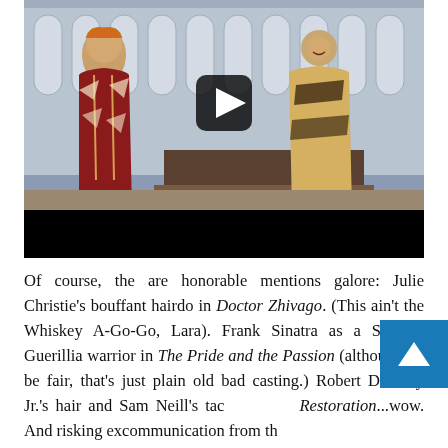[Figure (screenshot): Video thumbnail showing two figures in ancient Roman/period costumes on a set with arched columns in the background. A YouTube-style play button is overlaid in the center. The bottom portion is a black bar (video controls area).]
Of course, the are honorable mentions galore: Julie Christie's bouffant hairdo in Doctor Zhivago. (This ain't the Whiskey A-Go-Go, Lara). Frank Sinatra as a Spanish Guerillia warrior in The Pride and the Passion (although, to be fair, that's just plain old bad casting.) Robert Downey Jr.'s hair and Sam Neill's tac Restoration...wow. And risking excommunication from th classic film community: Michael Curtiz's The Adventures of